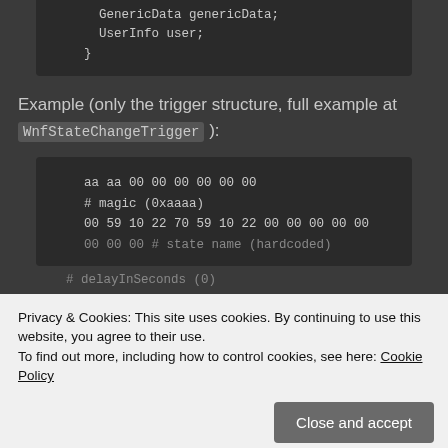[Figure (screenshot): Code block showing: GenericData genericData; UserInfo user; }]
Example (only the trigger structure, full example at WnfStateChangeTrigger ):
[Figure (screenshot): Code block showing hex bytes: aa aa 00 00 00 00 00 00 # magic (0xaaaa) 00 59 10 22 70 59 10 22 00 00 00 00 00 (partially obscured by cookie banner)]
Privacy & Cookies: This site uses cookies. By continuing to use this website, you agree to their use. To find out more, including how to control cookies, see here: Cookie Policy
Close and accept